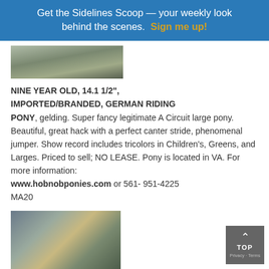Get the Sidelines Scoop — your weekly look behind the scenes. Sign me up!
[Figure (photo): Partial photo of horse/show scene at top of listing]
NINE YEAR OLD, 14.1 1/2", IMPORTED/BRANDED, GERMAN RIDING PONY, gelding. Super fancy legitimate A Circuit large pony. Beautiful, great hack with a perfect canter stride, phenomenal jumper. Show record includes tricolors in Children's, Greens, and Larges. Priced to sell; NO LEASE. Pony is located in VA. For more information: www.hobnobponies.com or 561- 951-4225 MA20
[Figure (photo): Photo of horse and rider jumping over an obstacle]